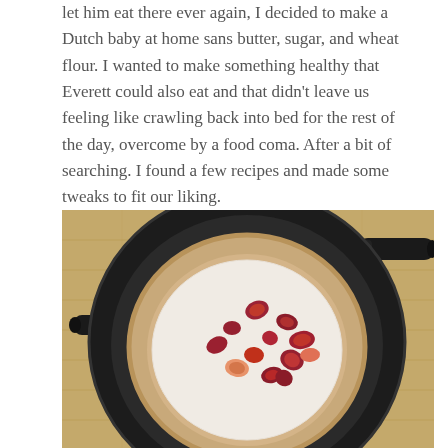let him eat there ever again, I decided to make a Dutch baby at home sans butter, sugar, and wheat flour. I wanted to make something healthy that Everett could also eat and that didn't leave us feeling like crawling back into bed for the rest of the day, overcome by a food coma. After a bit of searching. I found a few recipes and made some tweaks to fit our liking.
[Figure (photo): Overhead view of a Dutch baby pancake in a cast iron skillet, topped with white cream/yogurt and chopped fresh strawberries, resting on a wooden cutting board.]